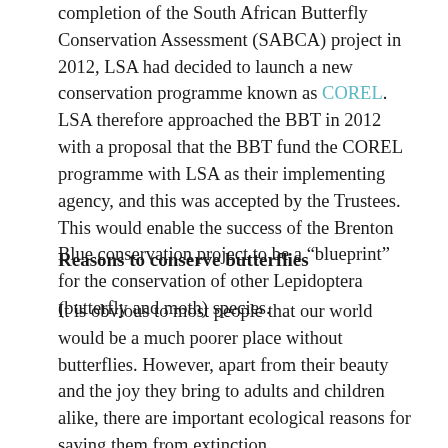completion of the South African Butterfly Conservation Assessment (SABCA) project in 2012, LSA had decided to launch a new conservation programme known as COREL. LSA therefore approached the BBT in 2012 with a proposal that the BBT fund the COREL programme with LSA as their implementing agency, and this was accepted by the Trustees. This would enable the success of the Brenton Blue conservation project to be a “blueprint” for the conservation of other Lepidoptera (butterfly and moth) species.
Reasons to conserve butterflies
It is obvious to most people that our world would be a much poorer place without butterflies. However, apart from their beauty and the joy they bring to adults and children alike, there are important ecological reasons for saving them from extinction.